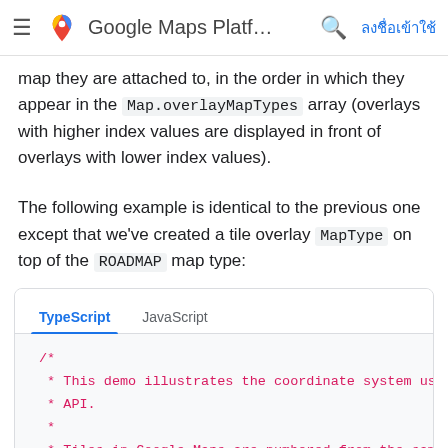Google Maps Platf...  ลงชื่อเข้าใช้
map they are attached to, in the order in which they appear in the Map.overlayMapTypes array (overlays with higher index values are displayed in front of overlays with lower index values).
The following example is identical to the previous one except that we've created a tile overlay MapType on top of the ROADMAP map type:
[Figure (screenshot): Code block with TypeScript and JavaScript tabs. TypeScript tab is active. Code shown: /* * This demo illustrates the coordinate system us * API. * * Tiles in Google Maps are numbered from the sam * pixels. For Google's implementation of the Mer * tile is always at the northwest corner of the]